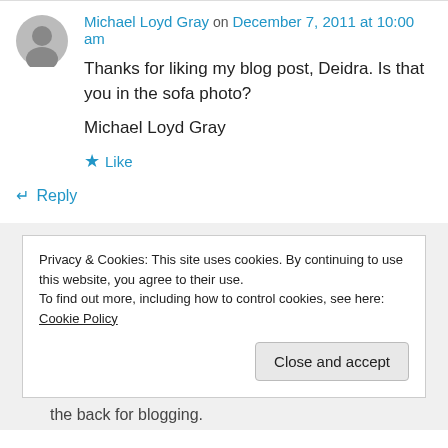Michael Loyd Gray on December 7, 2011 at 10:00 am
Thanks for liking my blog post, Deidra. Is that you in the sofa photo?
Michael Loyd Gray
★ Like
↵ Reply
Privacy & Cookies: This site uses cookies. By continuing to use this website, you agree to their use.
To find out more, including how to control cookies, see here: Cookie Policy
Close and accept
the back for blogging.